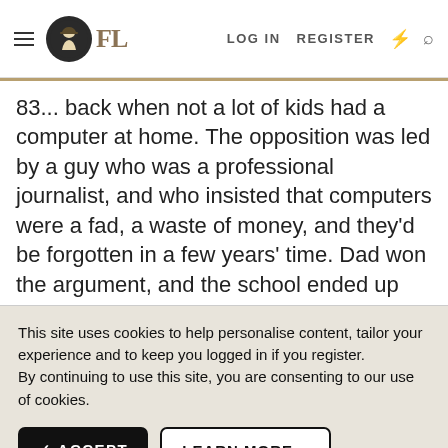FL — LOG IN  REGISTER
83... back when not a lot of kids had a computer at home. The opposition was led by a guy who was a professional journalist, and who insisted that computers were a fad, a waste of money, and they'd be forgotten in a few years' time. Dad won the argument, and the school ended up with two BBC B computers. In 1986, I moved to a grammar
This site uses cookies to help personalise content, tailor your experience and to keep you logged in if you register.
By continuing to use this site, you are consenting to our use of cookies.
✓ ACCEPT    LEARN MORE...
How times move on.
[Figure (screenshot): Advertisement bar for Tally app: 'Fast credit card payoff' with Download Now button]
I suspi... et